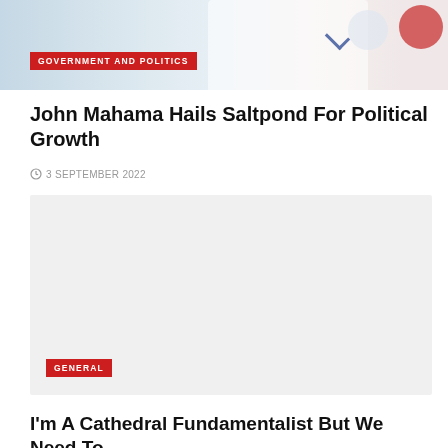[Figure (photo): Top banner image showing a person in white clothing, partially visible, with a red badge overlay reading GOVERNMENT AND POLITICS]
GOVERNMENT AND POLITICS
John Mahama Hails Saltpond For Political Growth
3 SEPTEMBER 2022
[Figure (photo): Large light gray placeholder image area]
GENERAL
I'm A Cathedral Fundamentalist But We Need To